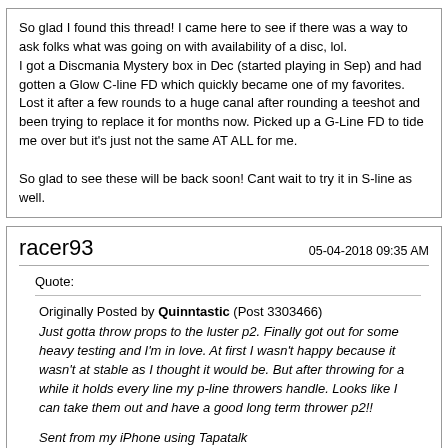So glad I found this thread! I came here to see if there was a way to ask folks what was going on with availability of a disc, lol.
I got a Discmania Mystery box in Dec (started playing in Sep) and had gotten a Glow C-line FD which quickly became one of my favorites. Lost it after a few rounds to a huge canal after rounding a teeshot and been trying to replace it for months now. Picked up a G-Line FD to tide me over but it's just not the same AT ALL for me.

So glad to see these will be back soon! Cant wait to try it in S-line as well.
racer93
05-04-2018 09:35 AM
Quote:
Originally Posted by Quinntastic (Post 3303466)
Just gotta throw props to the luster p2. Finally got out for some heavy testing and I'm in love. At first I wasn't happy because it wasn't at stable as I thought it would be. But after throwing for a while it holds every line my p-line throwers handle. Looks like I can take them out and have a good long term thrower p2!!


Sent from my iPhone using Tapatalk